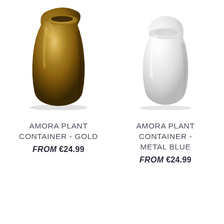[Figure (photo): Gold metallic ceramic plant container (vase), rounded body with shiny gold-bronze glaze, viewed from a slight angle, photographed on white background]
[Figure (photo): White ceramic plant container (vase), rounded squat body with glossy white glaze, photographed on white background]
AMORA PLANT CONTAINER - GOLD
FROM €24.99
AMORA PLANT CONTAINER - METAL BLUE
FROM €24.99